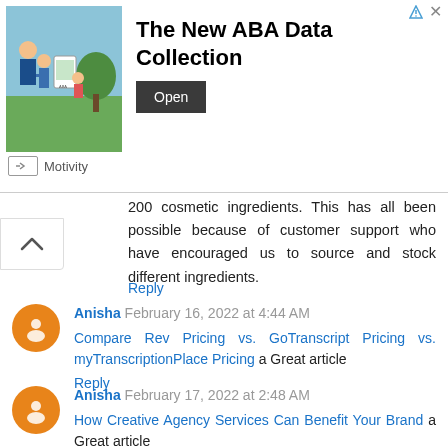[Figure (infographic): Advertisement banner for 'The New ABA Data Collection' by Motivity, with photo of children outdoors and an Open button]
200 cosmetic ingredients. This has all been possible because of customer support who have encouraged us to source and stock different ingredients.
Reply
Anisha February 16, 2022 at 4:44 AM
Compare Rev Pricing vs. GoTranscript Pricing vs. myTranscriptionPlace Pricing a Great article
Reply
Anisha February 17, 2022 at 2:48 AM
How Creative Agency Services Can Benefit Your Brand a Great article